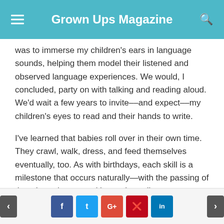Grown Ups Magazine
was to immerse my children's ears in language sounds, helping them model their listened and observed language experiences. We would, I concluded, party on with talking and reading aloud. We'd wait a few years to invite––and expect––my children's eyes to read and their hands to write.
I've learned that babies roll over in their own time. They crawl, walk, dress, and feed themselves eventually, too. As with birthdays, each skill is a milestone that occurs naturally—with the passing of time. Learning to read is another milestone, one that occurs, I've learned, when a child has a lengthy and rich oral language experience.
< f t G+ p in >